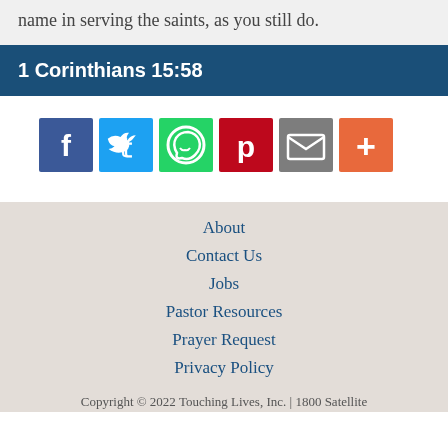name in serving the saints, as you still do.
1 Corinthians 15:58
[Figure (infographic): Row of social media share buttons: Facebook (blue), Twitter (light blue), WhatsApp (green), Pinterest (red), Email (gray), Plus/More (orange-red)]
About
Contact Us
Jobs
Pastor Resources
Prayer Request
Privacy Policy
Copyright © 2022 Touching Lives, Inc. | 1800 Satellite